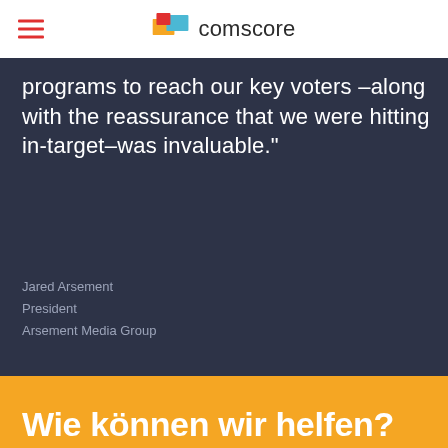comscore
programs to reach our key voters –along with the reassurance that we were hitting in-target–was invaluable."
Jared Arsement
President
Arsement Media Group
Wie können wir helfen?